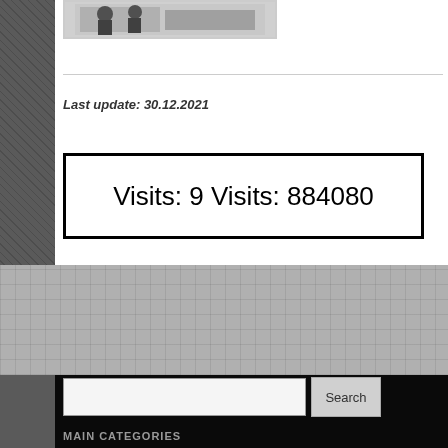[Figure (photo): Black and white photograph thumbnail showing people outdoors]
Last update: 30.12.2021
Visits: 9 Visits: 884080
Search
MAIN CATEGORIES